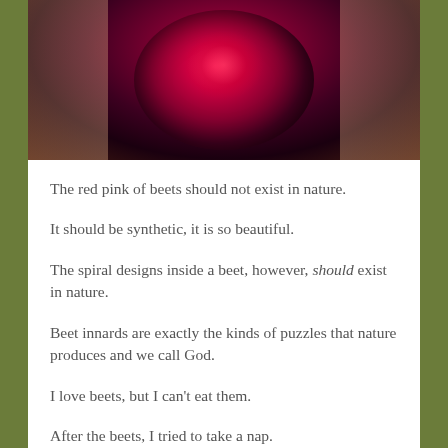[Figure (photo): Close-up photograph of a cut beet showing deep red-pink interior with spiral patterns, against skin-toned background]
The red pink of beets should not exist in nature.
It should be synthetic, it is so beautiful.
The spiral designs inside a beet, however, should exist in nature.
Beet innards are exactly the kinds of puzzles that nature produces and we call God.
I love beets, but I can't eat them.
After the beets, I tried to take a nap.